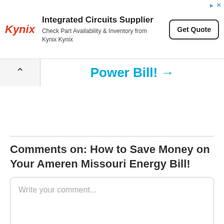[Figure (other): Kynix Integrated Circuits Supplier advertisement banner with logo, description text, and Get Quote button]
Power Bill! →
Comments on: How to Save Money on Your Ameren Missouri Energy Bill!
Write your comment...